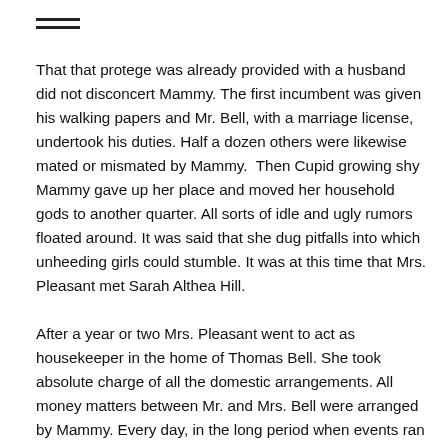≡
That that protege was already provided with a husband did not disconcert Mammy. The first incumbent was given his walking papers and Mr. Bell, with a marriage license, undertook his duties. Half a dozen others were likewise mated or mismated by Mammy.  Then Cupid growing shy Mammy gave up her place and moved her household gods to another quarter. All sorts of idle and ugly rumors floated around. It was said that she dug pitfalls into which unheeding girls could stumble. It was at this time that Mrs. Pleasant met Sarah Althea Hill.
After a year or two Mrs. Pleasant went to act as housekeeper in the home of Thomas Bell. She took absolute charge of all the domestic arrangements. All money matters between Mr. and Mrs. Bell were arranged by Mammy. Every day, in the long period when events ran smoothly, Bell handed her $100 for the usual household